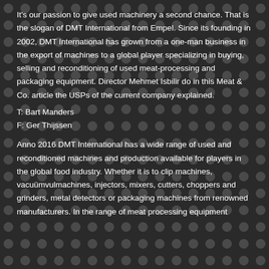It's our passion to give used machinery a second chance. That is the slogan of DMT International from Empel. Since its founding in 2002, DMT International has grown from a one-man business in the export of machines to a global player specializing in buying, selling and reconditioning of used meat-processing and packaging equipment. Director Mehmet Isbilir do in this Meat & Co. article the USPs of the current company explained.
T: Bart Manders
F: Ger Thijssen
Anno 2016 DMT International has a wide range of used and reconditioned machines and production available for players in the global food industry. Whether it is to clip machines, vacuümvulmachines, injectors, mixers, cutters, choppers and grinders, metal detectors or packaging machines from renowned manufacturers. In the range of meat processing equipment